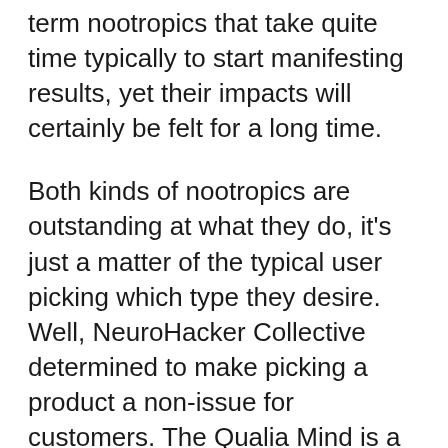term nootropics that take quite time typically to start manifesting results, yet their impacts will certainly be felt for a long time.
Both kinds of nootropics are outstanding at what they do, it's just a matter of the typical user picking which type they desire. Well, NeuroHacker Collective determined to make picking a product a non-issue for customers. The Qualia Mind is a blend of both short-term as well as long-term nootropics.
By doing this, you get the average